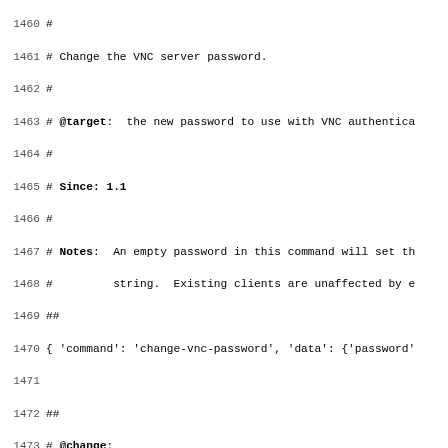Source code / documentation listing, lines 1460–1491, showing VNC password change command documentation and @change command multiplexing details.